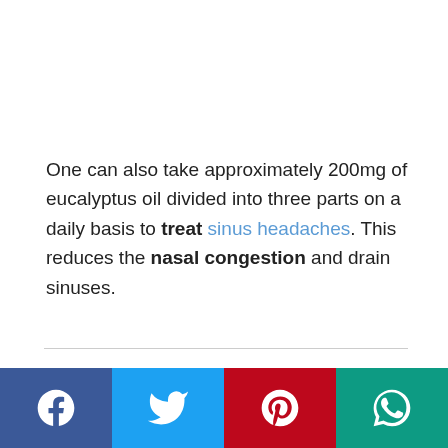One can also take approximately 200mg of eucalyptus oil divided into three parts on a daily basis to treat sinus headaches. This reduces the nasal congestion and drain sinuses.
Liquids
[Figure (photo): Photo of dark cans/bottles against a green bokeh background]
[Figure (other): Social media share bar with Facebook, Twitter, Pinterest, and WhatsApp buttons]